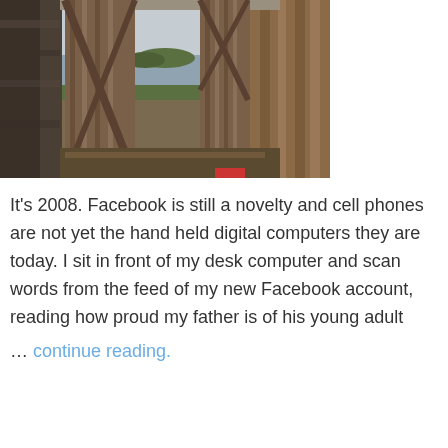[Figure (photo): Photograph of an old wooden barn door open to reveal a coastal scene with an island visible through the opening, with rocky and grassy ground in the foreground.]
It's 2008. Facebook is still a novelty and cell phones are not yet the hand held digital computers they are today. I sit in front of my desk computer and scan words from the feed of my new Facebook account, reading how proud my father is of his young adult
… continue reading.